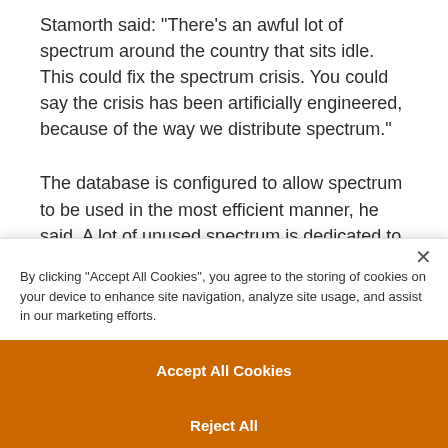Stamorth said: "There's an awful lot of spectrum around the country that sits idle. This could fix the spectrum crisis. You could say the crisis has been artificially engineered, because of the way we distribute spectrum."
The database is configured to allow spectrum to be used in the most efficient manner, he said. A lot of unused spectrum is dedicated to
By clicking "Accept All Cookies", you agree to the storing of cookies on your device to enhance site navigation, analyze site usage, and assist in our marketing efforts.
Accept All Cookies
Reject All
Cookies Settings